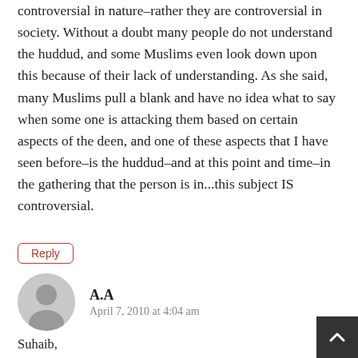I don't think the sister meant that the huddud are controversial in nature–rather they are controversial in society. Without a doubt many people do not understand the huddud, and some Muslims even look down upon this because of their lack of understanding. As she said, many Muslims pull a blank and have no idea what to say when some one is attacking them based on certain aspects of the deen, and one of these aspects that I have seen before–is the huddud–and at this point and time–in the gathering that the person is in...this subject IS controversial.
Reply
A.A
April 7, 2010 at 4:04 am
Suhaib,
This comment is a gem of sorts because it serves to illustrate the gist of your article. Its writer probably does not possess too much knowledge of hudud sinc